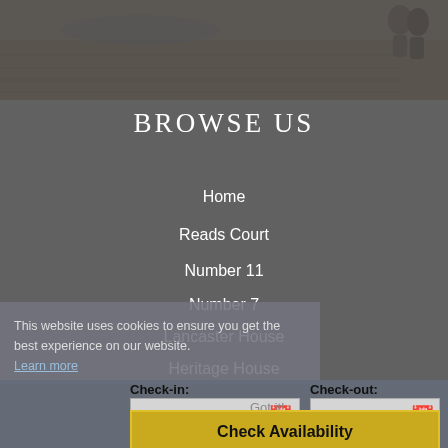[Figure (photo): Outdoor stone steps/ruins with two people in the upper right corner]
BROWSE US
Home
Reads Court
Number 11
Number 7
Lancaster House
Heritage House
This website uses cookies to ensure you get the best experience on our website.
Learn more
Check-in: 27 Aug 2022
Check-out: 28 Aug 2022
Got it!
Check Availability